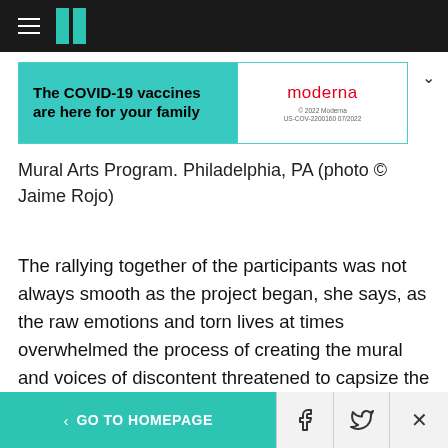HuffPost navigation bar with hamburger menu and logo
[Figure (other): Moderna COVID-19 vaccine advertisement banner: 'The COVID-19 vaccines are here for your family' on teal background with Moderna logo on white right panel]
Mural Arts Program. Philadelphia, PA (photo © Jaime Rojo)
The rallying together of the participants was not always smooth as the project began, she says, as the raw emotions and torn lives at times overwhelmed the process of creating the mural and voices of discontent threatened to capsize the project. "So I went to the Pennsylvania Prison Society, and I did research and designed a
< GO TO HOMEPAGE  [Facebook] [Twitter] [X]